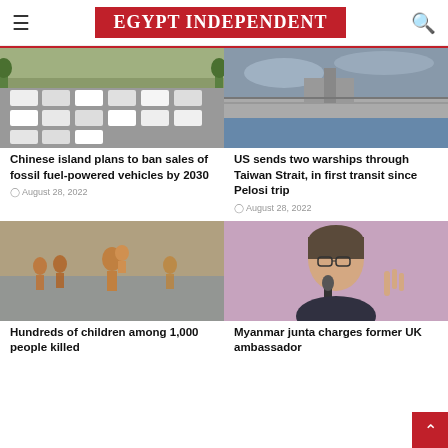EGYPT INDEPENDENT
[Figure (photo): Traffic jam with many cars on a road, trees and people visible on sidewalk]
Chinese island plans to ban sales of fossil fuel-powered vehicles by 2030
August 28, 2022
[Figure (photo): US warship deck with naval gun, cloudy sky and ocean in background]
US sends two warships through Taiwan Strait, in first transit since Pelosi trip
August 28, 2022
[Figure (photo): Man carrying child through floodwaters, other people wading in background]
Hundreds of children among 1,000 people killed
[Figure (photo): Woman speaking into microphone, wearing glasses, colorful background]
Myanmar junta charges former UK ambassador